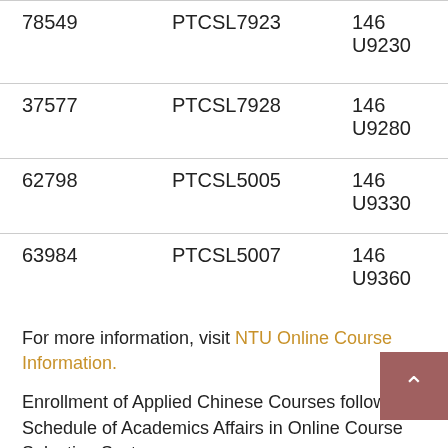| ID | Code | Course |
| --- | --- | --- |
| 78549 | PTCSL7923 | 146 U9230 |
| 37577 | PTCSL7928 | 146 U9280 |
| 62798 | PTCSL5005 | 146 U9330 |
| 63984 | PTCSL5007 | 146 U9360 |
For more information, visit NTU Online Course Information.
Enrollment of Applied Chinese Courses follows the Schedule of Academics Affairs in Online Course Selection System.